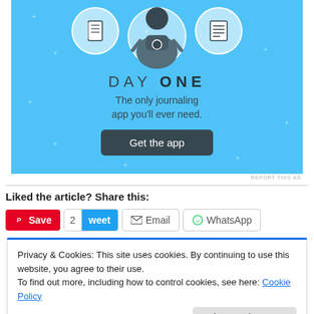[Figure (illustration): Day One journaling app advertisement banner with blue background, icons of notebooks and a person, title 'DAY ONE', subtitle 'The only journaling app you'll ever need.' and a dark 'Get the app' button]
REPORT THIS AD
Liked the article? Share this:
Save  2  weet  Email  WhatsApp
Privacy & Cookies: This site uses cookies. By continuing to use this website, you agree to their use.
To find out more, including how to control cookies, see here: Cookie Policy
Close and accept